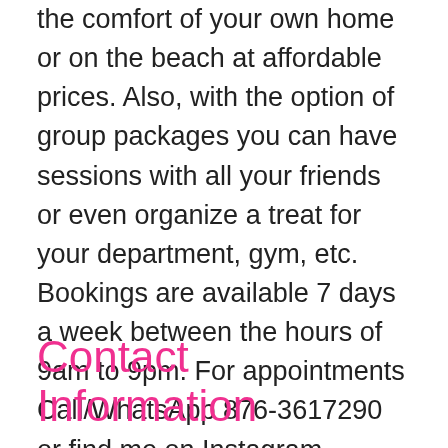the comfort of your own home or on the beach at affordable prices. Also, with the option of group packages you can have sessions with all your friends or even organize a treat for your department, gym, etc. Bookings are available 7 days a week between the hours of 9am to 9pm. For appointments Call/WhatsApp 876-3617290 or find me on Instagram @giftedtouchmassages or email blackwoodlionel@gmail.com.
Contact Information